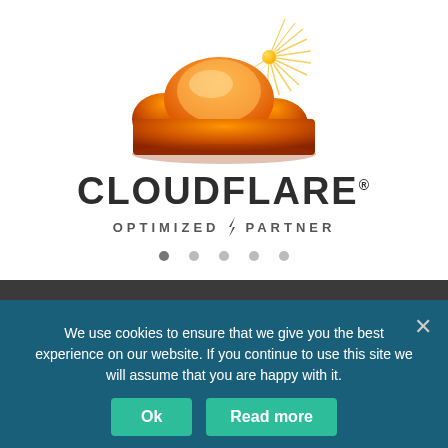[Figure (logo): Cloudflare logo with orange cloud and sun rays, with text CLOUDFLARE OPTIMIZED PARTNER below, and 5 navigation dots]
We use cookies to ensure that we give you the best experience on our website. If you continue to use this site we will assume that you are happy with it.
Ok
Read more